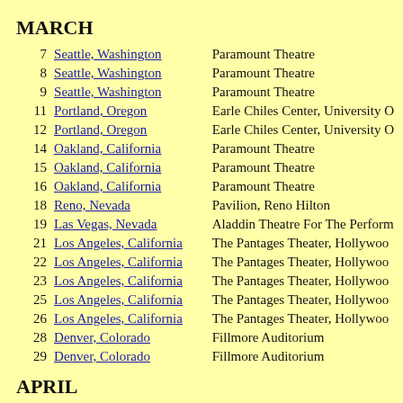MARCH
| Date | City | Venue |
| --- | --- | --- |
| 7 | Seattle, Washington | Paramount Theatre |
| 8 | Seattle, Washington | Paramount Theatre |
| 9 | Seattle, Washington | Paramount Theatre |
| 11 | Portland, Oregon | Earle Chiles Center, University O... |
| 12 | Portland, Oregon | Earle Chiles Center, University O... |
| 14 | Oakland, California | Paramount Theatre |
| 15 | Oakland, California | Paramount Theatre |
| 16 | Oakland, California | Paramount Theatre |
| 18 | Reno, Nevada | Pavilion, Reno Hilton |
| 19 | Las Vegas, Nevada | Aladdin Theatre For The Perform... |
| 21 | Los Angeles, California | The Pantages Theater, Hollywoo... |
| 22 | Los Angeles, California | The Pantages Theater, Hollywoo... |
| 23 | Los Angeles, California | The Pantages Theater, Hollywoo... |
| 25 | Los Angeles, California | The Pantages Theater, Hollywoo... |
| 26 | Los Angeles, California | The Pantages Theater, Hollywoo... |
| 28 | Denver, Colorado | Fillmore Auditorium |
| 29 | Denver, Colorado | Fillmore Auditorium |
APRIL
| Date | City | Venue |
| --- | --- | --- |
| 1 | Chicago, Illinois | Auditorium Theatre |
| 2 | Chicago, Illinois | Auditorium Theatre |
| 3 | Chicago, Illinois | Auditorium Theatre |
| 5 | Chicago, Illinois | Auditorium Theatre |